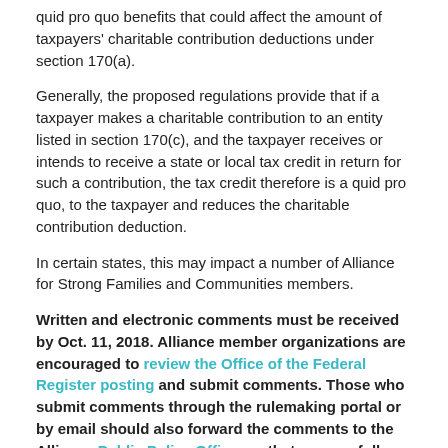quid pro quo benefits that could affect the amount of taxpayers' charitable contribution deductions under section 170(a).
Generally, the proposed regulations provide that if a taxpayer makes a charitable contribution to an entity listed in section 170(c), and the taxpayer receives or intends to receive a state or local tax credit in return for such a contribution, the tax credit therefore is a quid pro quo, to the taxpayer and reduces the charitable contribution deduction.
In certain states, this may impact a number of Alliance for Strong Families and Communities members.
Written and electronic comments must be received by Oct. 11, 2018. Alliance member organizations are encouraged to review the Office of the Federal Register posting and submit comments. Those who submit comments through the rulemaking portal or by email should also forward the comments to the Alliance Public Policy Office, so that we may follow your concerns.
View more public policy news and sign up for the weekly Alliance Policy Radar online.